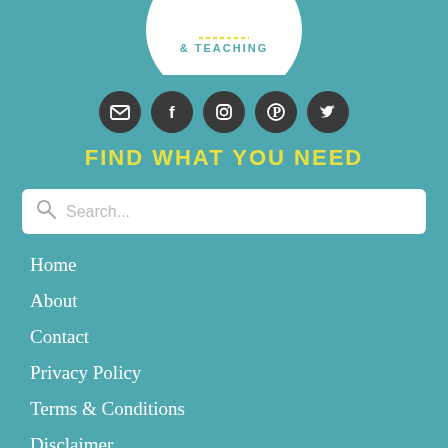[Figure (logo): Circular logo showing partial text '& TEACHING' at bottom, with decorative elements, on white circular background]
[Figure (infographic): Row of 5 dark circular social media icons: email, Facebook, Instagram, Pinterest, Twitter]
FIND WHAT YOU NEED
[Figure (other): Search bar with magnifying glass icon and placeholder text 'Search...']
Home
About
Contact
Privacy Policy
Terms & Conditions
Disclaimer